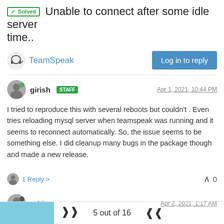✓ Solved  Unable to connect after some idle server time..
TeamSpeak
Log in to reply
girish  STAFF    Apr 1, 2021, 10:44 PM
I tried to reproduce this with several reboots but couldn't . Even tries reloading mysql server when teamspeak was running and it seems to reconnect automatically. So, the issue seems to be something else. I did cleanup many bugs in the package though and made a new release.
1 Reply >   ^ 0
robi    Apr 2, 2021, 1:17 AM
5 out of 16